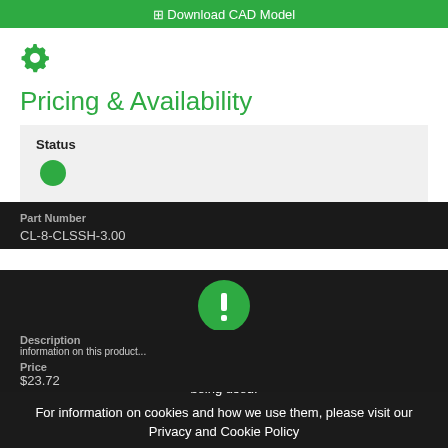Download CAD Model
[Figure (other): Green gear/settings icon]
Pricing & Availability
| Status |
| --- |
| ● |
Part Number
CL-8-CLSSH-3.00
Description
Price
$23.72
To give you the best possible experience, this website uses cookies. By continuing to use this website, you are giving consent to cookies being used.
For information on cookies and how we use them, please visit our Privacy and Cookie Policy
Accept